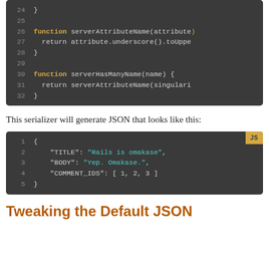[Figure (screenshot): Code block showing lines 24-32 of a JavaScript file with function serverAttributeName and serverHasManyName definitions]
This serializer will generate JSON that looks like this:
[Figure (screenshot): Code block showing lines 1-5 of a JS JSON output with TITLE, BODY, and COMMENT_IDS keys]
Tweaking the Default JSON